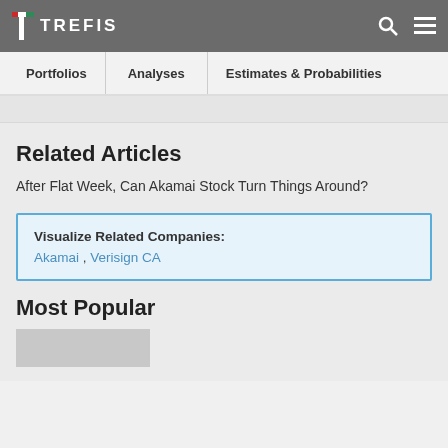TREFIS
Portfolios | Analyses | Estimates & Probabilities
Related Articles
After Flat Week, Can Akamai Stock Turn Things Around?
Visualize Related Companies: Akamai , Verisign CA
Most Popular